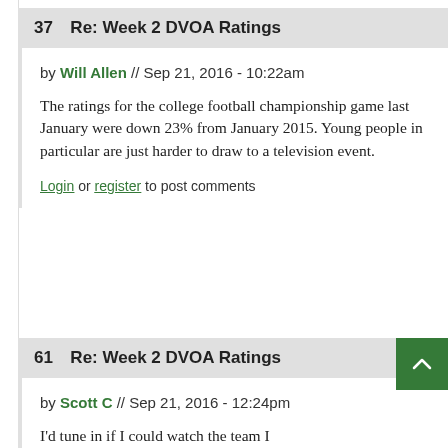37  Re: Week 2 DVOA Ratings
by Will Allen // Sep 21, 2016 - 10:22am
The ratings for the college football championship game last January were down 23% from January 2015. Young people in particular are just harder to draw to a television event.
Login or register to post comments
61  Re: Week 2 DVOA Ratings
by Scott C // Sep 21, 2016 - 12:24pm
I'd tune in if I could watch the team I